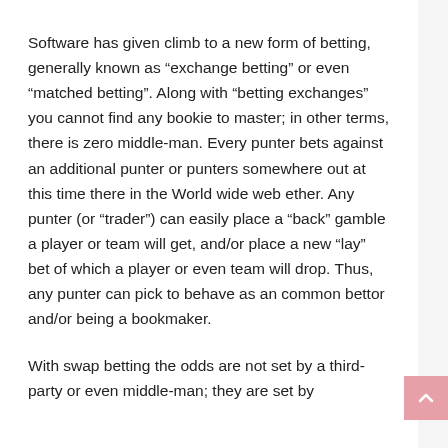Software has given climb to a new form of betting, generally known as “exchange betting” or even “matched betting”. Along with “betting exchanges” you cannot find any bookie to master; in other terms, there is zero middle-man. Every punter bets against an additional punter or punters somewhere out at this time there in the World wide web ether. Any punter (or “trader”) can easily place a “back” gamble a player or team will get, and/or place a new “lay” bet of which a player or even team will drop. Thus, any punter can pick to behave as an common bettor and/or being a bookmaker.
With swap betting the odds are not set by a third-party or even middle-man; they are set by